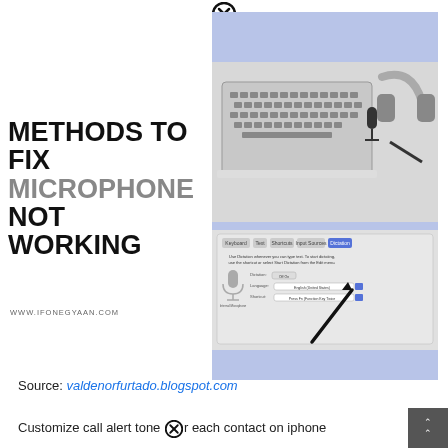[Figure (illustration): Close/cancel icon (circle with X) at top center of page]
[Figure (photo): Composite image on right side: top half shows laptop keyboard with microphone and headset on white background; bottom half shows Mac System Preferences Dictation settings panel with an arrow pointing to a dropdown; surrounded by lavender/purple border strips at top and bottom]
METHODS TO FIX MICROPHONE NOT WORKING
WWW.IFONEGYAAN.COM
Source: valdenorfurtado.blogspot.com
Customize call alert tone for each contact on iphone